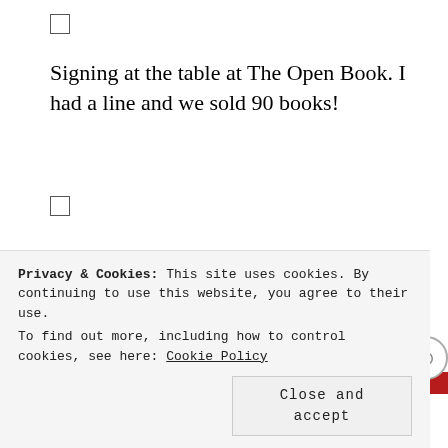[Figure (other): Small empty checkbox (square outline) in top-left area]
Signing at the table at The Open Book. I had a line and we sold 90 books!
[Figure (other): Small empty checkbox (square outline)]
Good friend, Judy Sullivan, came to my signing at Spellbound Books in Asheville, NC
Advertisements
[Figure (other): Red advertisement banner bar]
Privacy & Cookies: This site uses cookies. By continuing to use this website, you agree to their use.
To find out more, including how to control cookies, see here: Cookie Policy
Close and accept